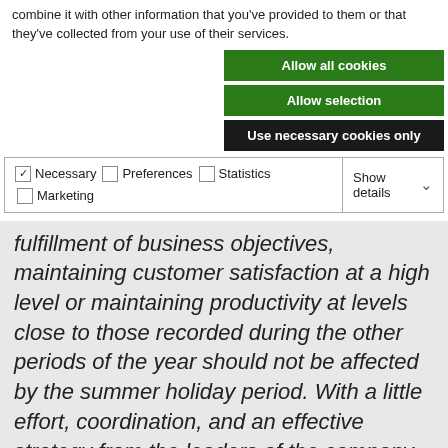combine it with other information that you've provided to them or that they've collected from your use of their services.
Allow all cookies
Allow selection
Use necessary cookies only
| ✓ Necessary | ☐ Preferences | ☐ Statistics | Show details ∨ |
| ☐ Marketing |  |  |  |
fulfillment of business objectives, maintaining customer satisfaction at a high level or maintaining productivity at levels close to those recorded during the other periods of the year should not be affected by the summer holiday period. With a little effort, coordination, and an effective strategy from the leaders of the company, this can become reality.
Mediation – How Not to Put Anyone at a Disadvantage
First, we must take into account that the possibility